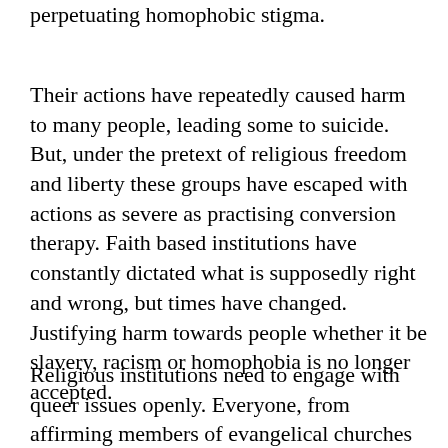perpetuating homophobic stigma.
Their actions have repeatedly caused harm to many people, leading some to suicide. But, under the pretext of religious freedom and liberty these groups have escaped with actions as severe as practising conversion therapy. Faith based institutions have constantly dictated what is supposedly right and wrong, but times have changed. Justifying harm towards people whether it be slavery, racism or homophobia is no longer accepted.
Religious institutions need to engage with queer issues openly. Everyone, from affirming members of evangelical churches to campus groups such as the